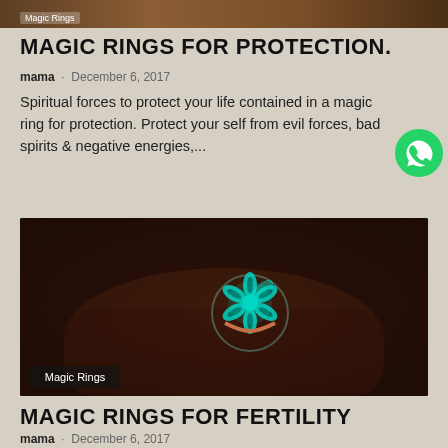[Figure (photo): Partial top strip of a photo showing a magic ring, with a 'Magic Rings' category badge overlay]
MAGIC RINGS FOR PROTECTION.
mama · December 6, 2017
Spiritual forces to protect your life contained in a magic ring for protection. Protect your self from evil forces, bad spirits & negative energies,...
[Figure (photo): A glowing teal/turquoise flower-shaped magic ring on a dark skin finger, with 'Magic Rings' category badge in bottom left]
MAGIC RINGS FOR FERTILITY
mama · December 6, 2017